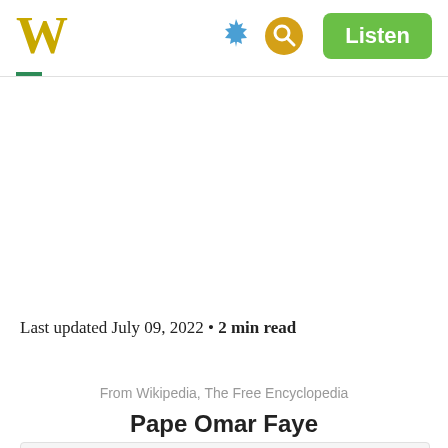W  [gear icon] [search icon]  Listen
Last updated July 09, 2022 • 2 min read
From Wikipedia, The Free Encyclopedia
Pape Omar Faye